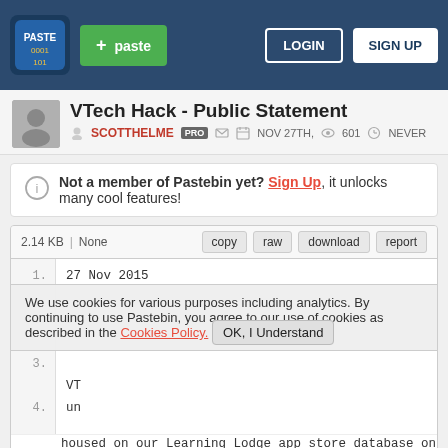Pastebin header with logo, + paste button, LOGIN and SIGN UP buttons
VTech Hack - Public Statement
SCOTTHELME PRO NOV 27TH, 601 NEVER
Not a member of Pastebin yet? Sign Up, it unlocks many cool features!
2.14 KB | None
copy raw download report
1.  27 Nov 2015
2.  Da
3.  
4.  VT
    un
    housed on our Learning Lodge app store database on
We use cookies for various purposes including analytics. By continuing to use Pastebin, you agree to our use of cookies as described in the Cookies Policy. OK, I Understand
Not a member of Pastebin yet?
Sign Up, it unlocks many cool features!
books and other educational content to their vtech